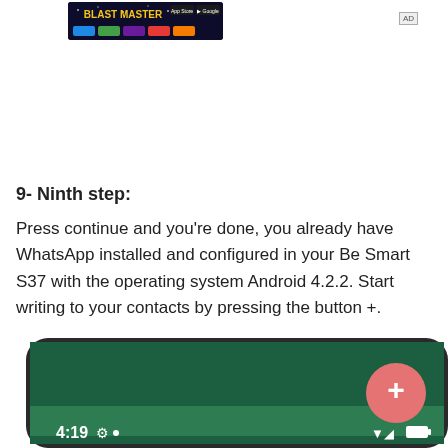[Figure (screenshot): Advertisement banner showing a game app (Blast Master) with dark blue background and colorful UI buttons, with an AD tag in the top right.]
9- Ninth step:
Press continue and you're done, you already have WhatsApp installed and configured in your Be Smart S37 with the operating system Android 4.2.2. Start writing to your contacts by pressing the button +.
[Figure (screenshot): Smartphone screenshot showing WhatsApp interface with dark green background, camera, time 4:19, status icons, and a red circular + button in the top right.]